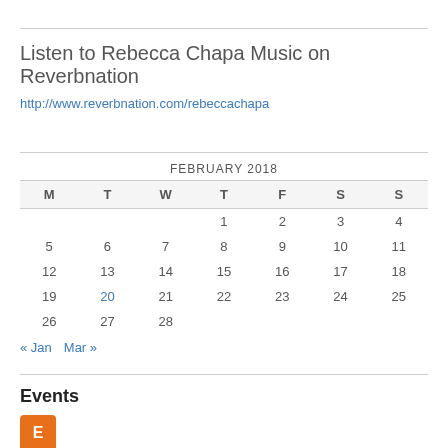Listen to Rebecca Chapa Music on Reverbnation
http://www.reverbnation.com/rebeccachapa
| M | T | W | T | F | S | S |
| --- | --- | --- | --- | --- | --- | --- |
|  |  |  | 1 | 2 | 3 | 4 |
| 5 | 6 | 7 | 8 | 9 | 10 | 11 |
| 12 | 13 | 14 | 15 | 16 | 17 | 18 |
| 19 | 20 | 21 | 22 | 23 | 24 | 25 |
| 26 | 27 | 28 |  |  |  |  |
« Jan   Mar »
Events